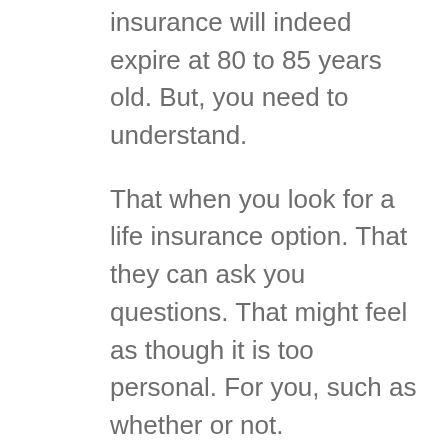insurance will indeed expire at 80 to 85 years old. But, you need to understand.
That when you look for a life insurance option. That they can ask you questions. That might feel as though it is too personal. For you, such as whether or not.
You lead a very healthy life or not. Which will certainly allow for the company. With which you are dealing with for your life insurance. To decide if they want to cover you.
Life insurance Vancouver says that the choice. Is often between level or yearly renewable term insurance. The level